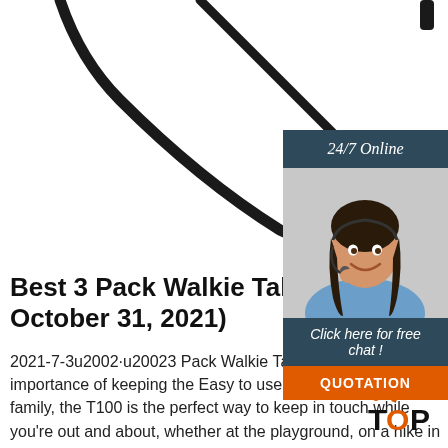[Figure (photo): Close-up product photo of a black walkie-talkie earpiece/headset cable with connector on a white background]
[Figure (infographic): 24/7 Online chat widget with a female customer service agent wearing a headset, dark teal header reading '24/7 Online', link text 'Click here for free chat!', and orange QUOTATION button]
Best 3 Pack Walkie Talkie (Updated October 31, 2021)
2021-7-3u2002·u20023 Pack Walkie Talkie description. The importance of keeping the Easy to use by everyone in your family, the T100 is the perfect way to keep in touch while you're out and about, whether at the playground, on a hike in the park, or enjoying a picnic.
[Figure (logo): TOP logo with orange dots above letters]